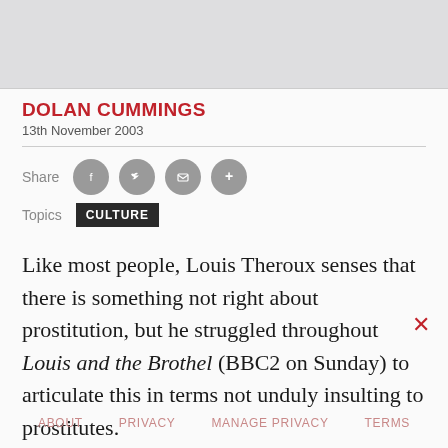DOLAN CUMMINGS
13th November 2003
Share
Topics  CULTURE
Like most people, Louis Theroux senses that there is something not right about prostitution, but he struggled throughout Louis and the Brothel (BBC2 on Sunday) to articulate this in terms not unduly insulting to prostitutes.
ABOUT   PRIVACY   MANAGE PRIVACY   TERMS